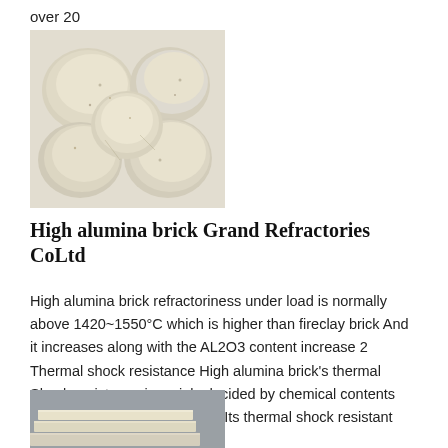over 20
[Figure (photo): Photo of high alumina brick pieces shaped like rounded stones/balls, beige/cream colored with speckles, on a light background]
High alumina brick Grand Refractories CoLtd
High alumina brick refractoriness under load is normally above 1420~1550°C which is higher than fireclay brick And it increases along with the AL2O3 content increase 2 Thermal shock resistance High alumina brick's thermal Shock resistance is mainly decided by chemical contents and its mineral microstructure Its thermal shock resistant
[Figure (photo): Photo of high alumina brick flat slabs/plates, light cream/beige colored, stacked, on a gray background]